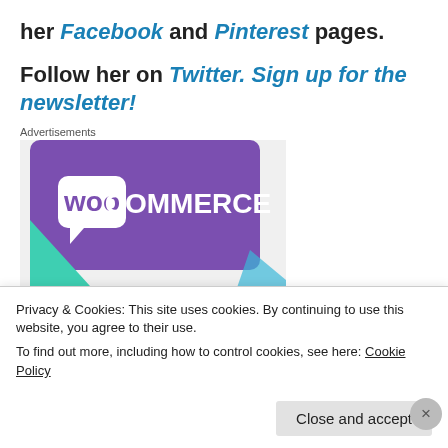her Facebook and Pinterest pages.
Follow her on Twitter. Sign up for the newsletter!
Advertisements
[Figure (logo): WooCommerce advertisement banner with purple background and teal/blue geometric shapes]
Privacy & Cookies: This site uses cookies. By continuing to use this website, you agree to their use.
To find out more, including how to control cookies, see here: Cookie Policy